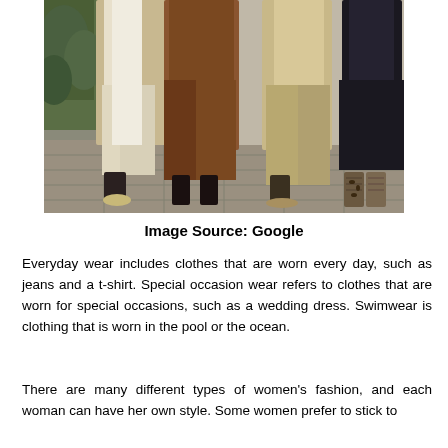[Figure (photo): Four people walking side by side on a stone sidewalk, showing only their lower bodies and coats. From left to right: a person in a beige/tan trench coat with white pants and dark ankle boots; a person in a brown/rust trench coat with brown wide-leg trousers and black heels; a person in a beige coat with khaki pants; a person in a black outfit with patterned boots. Green foliage visible in the upper left background.]
Image Source: Google
Everyday wear includes clothes that are worn every day, such as jeans and a t-shirt. Special occasion wear refers to clothes that are worn for special occasions, such as a wedding dress. Swimwear is clothing that is worn in the pool or the ocean.
There are many different types of women's fashion, and each woman can have her own style. Some women prefer to stick to